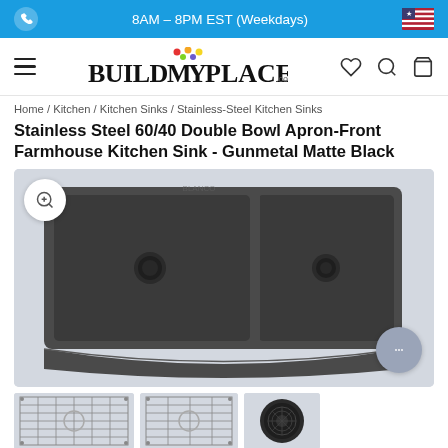8AM - 8PM EST (Weekdays)
[Figure (logo): BuildMyPlace.com logo with colorful leaf/dot icon above the Y]
Home / Kitchen / Kitchen Sinks / Stainless-Steel Kitchen Sinks
Stainless Steel 60/40 Double Bowl Apron-Front Farmhouse Kitchen Sink - Gunmetal Matte Black
[Figure (photo): Gunmetal matte black stainless steel 60/40 double bowl apron-front farmhouse kitchen sink, top-down perspective view showing two basins with circular drains and curved apron front]
[Figure (photo): Thumbnail images showing sink grid accessories and drain strainer in black]